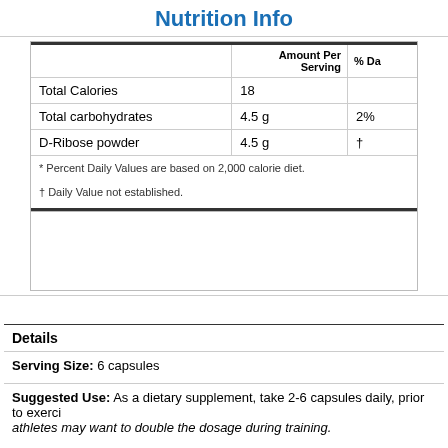Nutrition Info
|  | Amount Per Serving | % Da |
| --- | --- | --- |
| Total Calories | 18 |  |
| Total carbohydrates | 4.5 g | 2% |
| D-Ribose powder | 4.5 g | † |
* Percent Daily Values are based on 2,000 calorie diet.
† Daily Value not established.
Details
Serving Size: 6 capsules
Suggested Use: As a dietary supplement, take 2-6 capsules daily, prior to exercise. athletes may want to double the dosage during training.